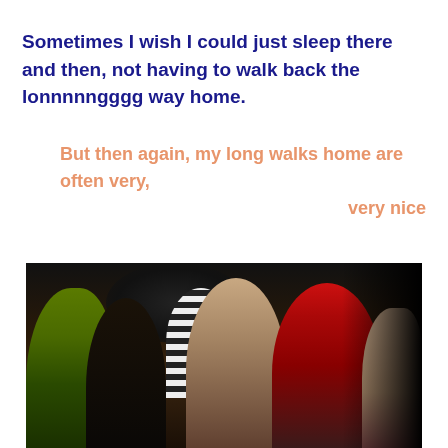Sometimes I wish I could just sleep there and then, not having to walk back the lonnnnnggg way home.
But then again, my long walks home are often very, very nice
[Figure (photo): A group of young people in costumes at what appears to be a party or Halloween event. One person on the left has green face paint and blonde hair, another has dark hair, a person in a black and white striped shirt is visible in the background, a young man in the center is smiling, and a person with a bright red wig is on the right.]